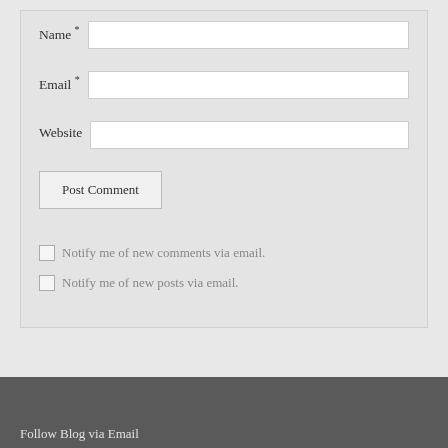Name *
Email *
Website
Post Comment
Notify me of new comments via email.
Notify me of new posts via email.
Follow Blog via Email